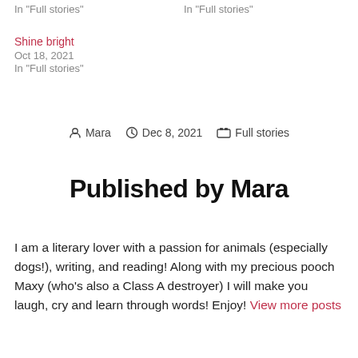In "Full stories"
In "Full stories"
Shine bright
Oct 18, 2021
In "Full stories"
Author: Mara   Dec 8, 2021   Full stories
Published by Mara
I am a literary lover with a passion for animals (especially dogs!), writing, and reading! Along with my precious pooch Maxy (who's also a Class A destroyer) I will make you laugh, cry and learn through words! Enjoy! View more posts